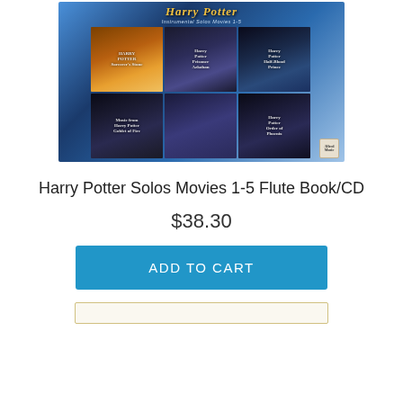[Figure (photo): Harry Potter Instrumental Solos Movies 1-5 book cover compilation showing multiple Harry Potter movie soundtrack music books arranged in a collage on a blue glowing background, with an Alfred Music publisher logo]
Harry Potter Solos Movies 1-5 Flute Book/CD
$38.30
ADD TO CART